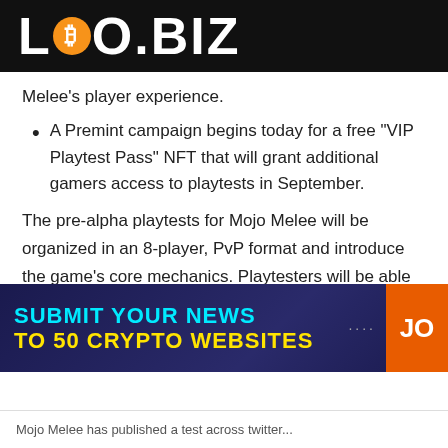LBO.BIZ
Melee's player experience.
A Premint campaign begins today for a free “VIP Playtest Pass” NFT that will grant additional gamers access to playtests in September.
The pre-alpha playtests for Mojo Melee will be organized in an 8-player, PvP format and introduce the game’s core mechanics. Playtesters will be able to select from pre-configured teams that each include a Mojo, 4 Champions, and 2 SpellStones that enable Mojos to channel offensive or defensive
[Figure (infographic): Advertisement banner: dark blue/purple background with cyan text 'SUBMIT YOUR NEWS', yellow text 'TO 50 CRYPTO WEBSITES', orange button on right with 'JO' visible, dots separator, close X button in top right corner]
Mojo Melee has published a test across twitter...